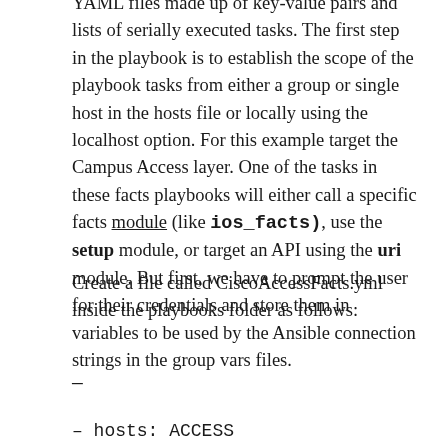YAML files made up of key-value pairs and lists of serially executed tasks. The first step in the playbook is to establish the scope of the playbook tasks from either a group or single host in the hosts file or locally using the localhost option. For this example target the Campus Access layer. One of the tasks in these facts playbooks will either call a specific facts module (like ios_facts), use the setup module, or target an API using the uri module. But first, we have to prompt the user for their credentials and store them in variables to be used by the Ansible connection strings in the group vars files.
Create a file called CiscoAccessFacts.yml inside the playbooks folder as follows:
—
– hosts: ACCESS